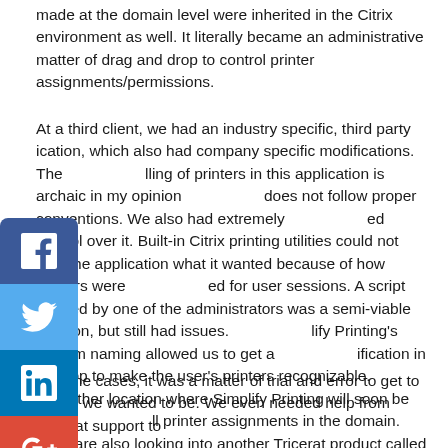made at the domain level were inherited in the Citrix environment as well. It literally became an administrative matter of drag and drop to control printer assignments/permissions.
At a third client, we had an industry specific, third party application, which also had company specific modifications. The handling of printers in this application is archaic in my opinion and does not follow proper conventions. We also had extremely limited control over it. Built-in Citrix printing utilities could not give the application what it wanted because of how printers were configured for user sessions. A script created by one of the administrators was a semi-viable solution, but still had issues. Simplify Printing's custom naming allowed us to get a modification in the app to make the user's printers recognizable. This is another location where Simplify Printing will soon be used for all printer assignments in the domain. They are also looking into another Tricerat product called Simplify Scanning to help with their scanning needs.
In some cases, it was a matter of trial and error to get to where we wanted to be. We even needed help from Tricerat support to